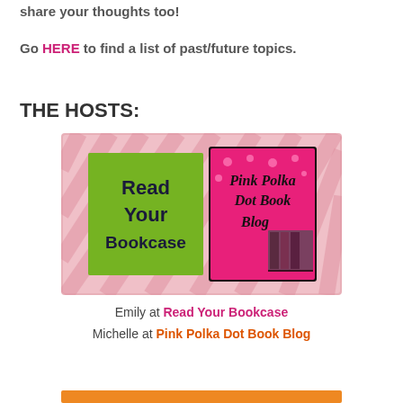share your thoughts too!
Go HERE to find a list of past/future topics.
THE HOSTS:
[Figure (illustration): Logo banner with two blog logos side by side on a pink zebra-stripe background. Left: green damask square with bold dark text 'Read Your Bookcase'. Right: pink polka-dot square with cursive text 'Pink Polka Dot Book Blog' and a bookcase illustration.]
Emily at Read Your Bookcase
Michelle at Pink Polka Dot Book Blog